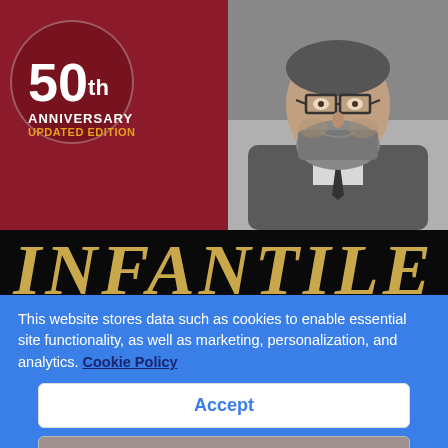[Figure (screenshot): Book cover for 'Infantile' 50th Anniversary Updated Edition, showing a bearded man with glasses in a black-and-white photo on a dark red background, with a gold title on a black band at the bottom.]
This website stores data such as cookies to enable essential site functionality, as well as marketing, personalization, and analytics. Cookie Policy
Accept
Deny